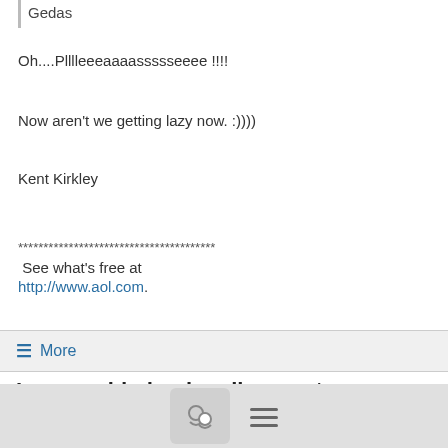Gedas
Oh....Plllleeeaaaassssseeee !!!!
Now aren't we getting lazy now. :))))
Kent Kirkley
*************************************** See what's free at http://www.aol.com.
More
Laser guided polar alignment
jamesw767 <jamesw767@yahoo.com>
6/29/07